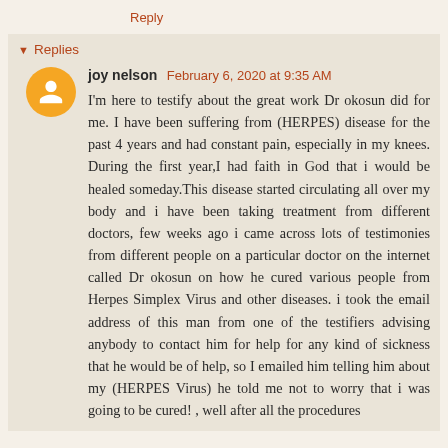Reply
Replies
joy nelson  February 6, 2020 at 9:35 AM
I'm here to testify about the great work Dr okosun did for me. I have been suffering from (HERPES) disease for the past 4 years and had constant pain, especially in my knees. During the first year,I had faith in God that i would be healed someday.This disease started circulating all over my body and i have been taking treatment from different doctors, few weeks ago i came across lots of testimonies from different people on a particular doctor on the internet called Dr okosun on how he cured various people from Herpes Simplex Virus and other diseases. i took the email address of this man from one of the testifiers advising anybody to contact him for help for any kind of sickness that he would be of help, so I emailed him telling him about my (HERPES Virus) he told me not to worry that i was going to be cured! , well after all the procedures